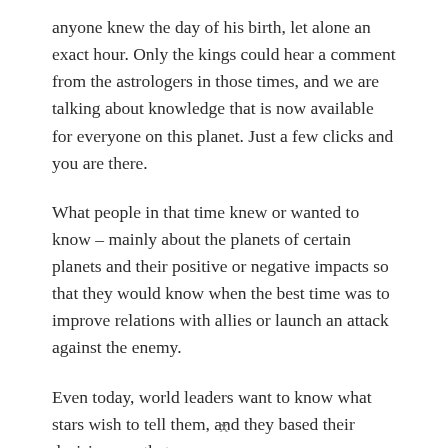anyone knew the day of his birth, let alone an exact hour. Only the kings could hear a comment from the astrologers in those times, and we are talking about knowledge that is now available for everyone on this planet. Just a few clicks and you are there.
What people in that time knew or wanted to know – mainly about the planets of certain planets and their positive or negative impacts so that they would know when the best time was to improve relations with allies or launch an attack against the enemy.
Even today, world leaders want to know what stars wish to tell them, and they based their decisions on that
X